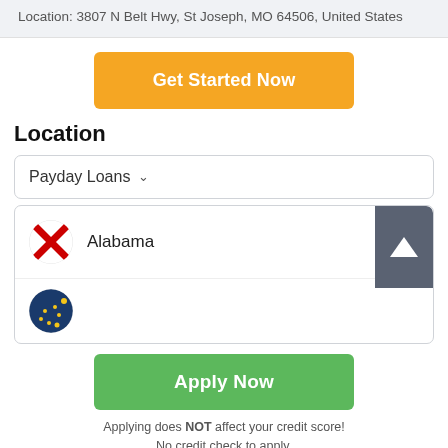Location: 3807 N Belt Hwy, St Joseph, MO 64506, United States
Get Started Now
Location
Payday Loans
Alabama
Apply Now
Applying does NOT affect your credit score! No credit check to apply.